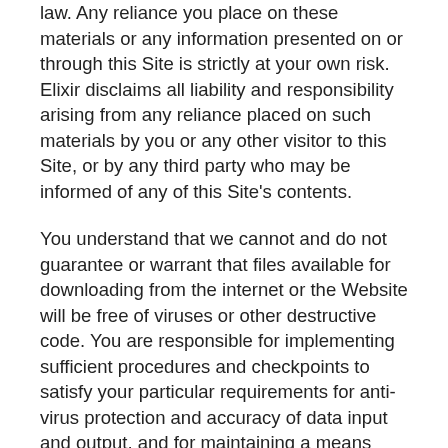law. Any reliance you place on these materials or any information presented on or through this Site is strictly at your own risk. Elixir disclaims all liability and responsibility arising from any reliance placed on such materials by you or any other visitor to this Site, or by any third party who may be informed of any of this Site's contents.
You understand that we cannot and do not guarantee or warrant that files available for downloading from the internet or the Website will be free of viruses or other destructive code. You are responsible for implementing sufficient procedures and checkpoints to satisfy your particular requirements for anti-virus protection and accuracy of data input and output, and for maintaining a means external to our site for any reconstruction of any lost data.
WE WILL NOT BE LIABLE FOR ANY LOSS OR DAMAGE CAUSED BY A DISTRIBUTED DENIAL-OF-SERVICE